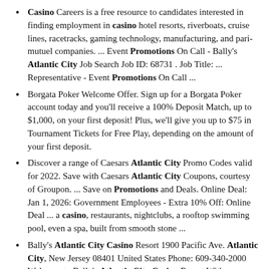Casino Careers is a free resource to candidates interested in finding employment in casino hotel resorts, riverboats, cruise lines, racetracks, gaming technology, manufacturing, and pari-mutuel companies. ... Event Promotions On Call - Bally's Atlantic City Job Search Job ID: 68731 . Job Title: ... Representative - Event Promotions On Call ...
Borgata Poker Welcome Offer. Sign up for a Borgata Poker account today and you'll receive a 100% Deposit Match, up to $1,000, on your first deposit! Plus, we'll give you up to $75 in Tournament Tickets for Free Play, depending on the amount of your first deposit.
Discover a range of Caesars Atlantic City Promo Codes valid for 2022. Save with Caesars Atlantic City Coupons, courtesy of Groupon. ... Save on Promotions and Deals. Online Deal: Jan 1, 2026: Government Employees - Extra 10% Off: Online Deal ... a casino, restaurants, nightclubs, a rooftop swimming pool, even a spa, built from smooth stone ...
Bally's Atlantic City Casino Resort 1900 Pacific Ave. Atlantic City, New Jersey 08401 United States Phone: 609-340-2000 Welcome to Bally's Atlantic City Casino Resort With over $100 million in planned renovations, Bally's Atlantic City features over 1,200 rooms, 83,000 square feet of gaming space with over 1,300 slots machines, over 80 table games, and valet and self-parking.